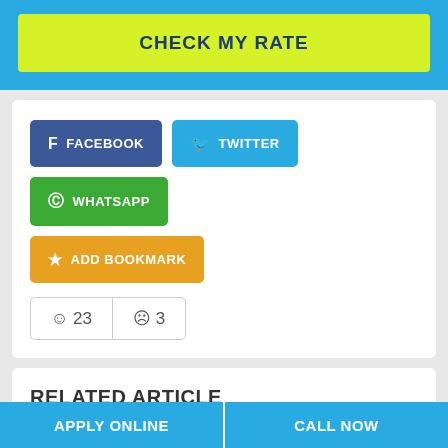[Figure (screenshot): Yellow 'CHECK MY RATE' button on blue background banner]
[Figure (screenshot): Social share buttons: Facebook (dark blue), Twitter (light blue), WhatsApp (green), Add Bookmark (orange/yellow)]
[Figure (screenshot): Vote counts: smiley face 23, sad face 3]
RELATED ARTICLE
Auto Title Loans Requirements
Apply for Auto/Vehicle Title Loans Online
Online Title Loans with No Proof of Income
[Figure (screenshot): Bottom bar with APPLY ONLINE and CALL NOW buttons]